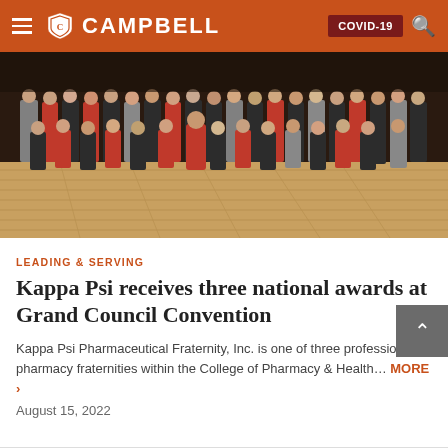CAMPBELL | COVID-19
[Figure (photo): Group photo of approximately 40 students dressed formally (black, red, and other formal attire) standing and kneeling in rows on a wood-floored venue.]
LEADING & SERVING
Kappa Psi receives three national awards at Grand Council Convention
Kappa Psi Pharmaceutical Fraternity, Inc. is one of three professional pharmacy fraternities within the College of Pharmacy & Health… MORE ›
August 15, 2022